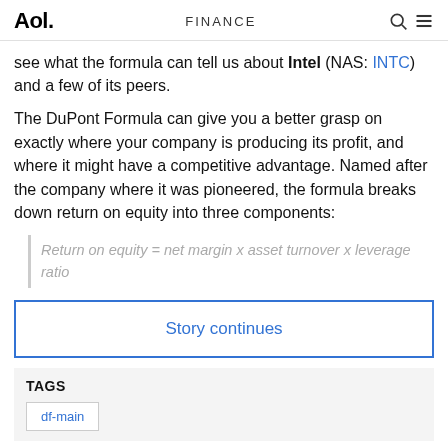Aol. | FINANCE
see what the formula can tell us about Intel (NAS: INTC) and a few of its peers.
The DuPont Formula can give you a better grasp on exactly where your company is producing its profit, and where it might have a competitive advantage. Named after the company where it was pioneered, the formula breaks down return on equity into three components:
Story continues
TAGS
df-main